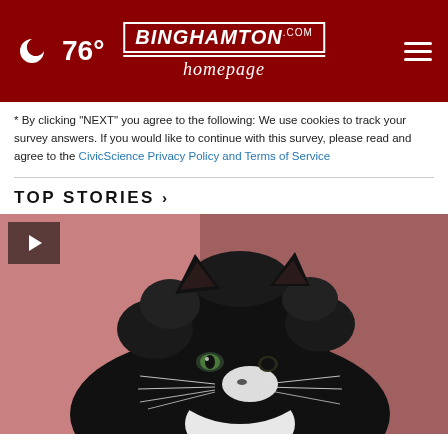76° Binghamton Homepage - weather icon, logo, hamburger menu
* By clicking "NEXT" you agree to the following: We use cookies to track your survey answers. If you would like to continue with this survey, please read and agree to the CivicScience Privacy Policy and Terms of Service
TOP STORIES ›
[Figure (photo): A black and white long-haired cat photographed against a reddish-pink background, with green eyes and prominent whiskers. A video play button is overlaid in the top-left corner.]